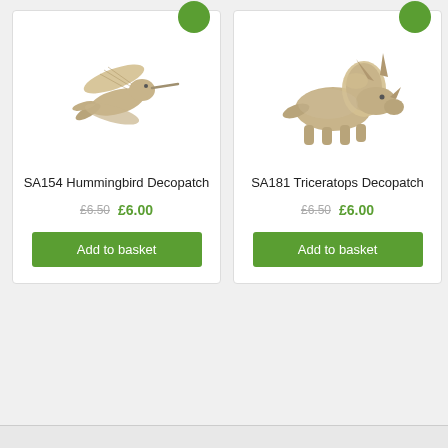[Figure (photo): Papier-mache hummingbird figurine in beige/tan color, wings spread, flying pose]
SA154 Hummingbird Decopatch
£6.50  £6.00
Add to basket
[Figure (photo): Papier-mache triceratops dinosaur figurine in beige/tan color]
SA181 Triceratops Decopatch
£6.50  £6.00
Add to basket